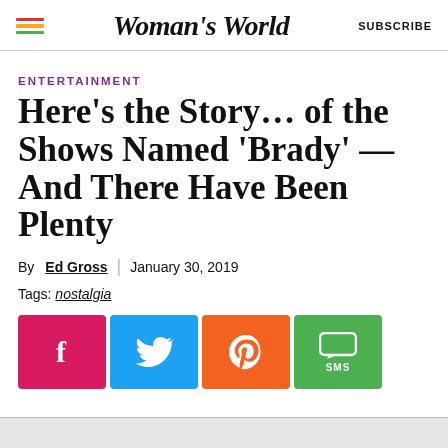Woman's World | SUBSCRIBE
ENTERTAINMENT
Here’s the Story… of the Shows Named ‘Brady’ — And There Have Been Plenty
By Ed Gross | January 30, 2019
Tags: nostalgia
[Figure (infographic): Social sharing buttons: Facebook (pink), Twitter (blue), Pinterest (orange), SMS (green)]